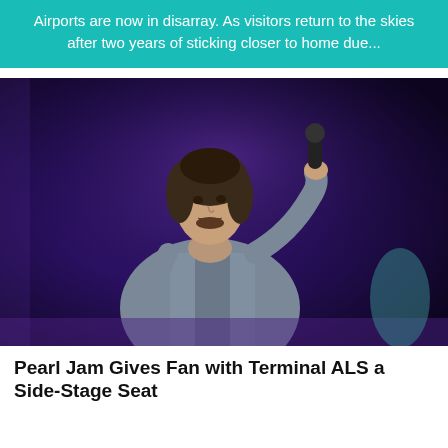Airports are now in disarray. As visitors return to the skies after two years of sticking closer to home due...
[Figure (photo): A male performer on stage holding a microphone, wearing a grey button-up shirt, with dark purple/blue stage lighting in the background.]
Pearl Jam Gives Fan with Terminal ALS a Side-Stage Seat